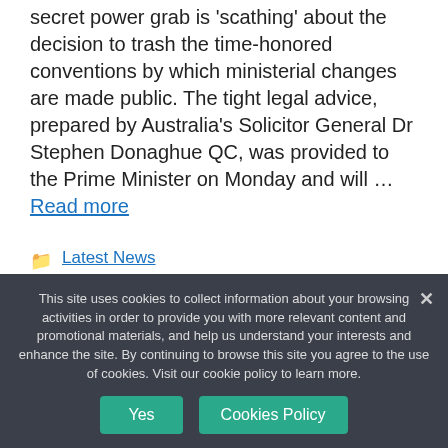secret power grab is 'scathing' about the decision to trash the time-honored conventions by which ministerial changes are made public. The tight legal advice, prepared by Australia's Solicitor General Dr Stephen Donaghue QC, was provided to the Prime Minister on Monday and will … Read more
Latest News
accountability mechanisms, Anthony
This site uses cookies to collect information about your browsing activities in order to provide you with more relevant content and promotional materials, and help us understand your interests and enhance the site. By continuing to browse this site you agree to the use of cookies. Visit our cookie policy to learn more.